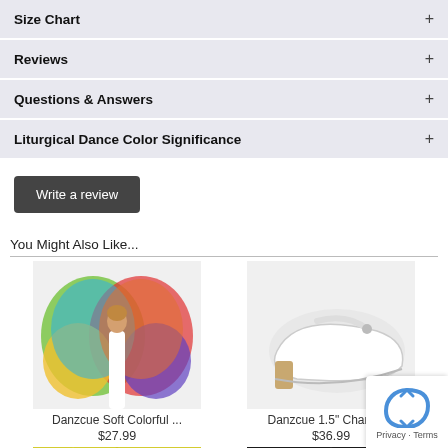Size Chart +
Reviews +
Questions & Answers +
Liturgical Dance Color Significance +
Write a review
You Might Also Like...
[Figure (photo): Danzcue Soft Colorful butterfly wings costume, person wearing colorful butterfly wings, white leggings]
Danzcue Soft Colorful ...
$27.99
[Figure (photo): Danzcue 1.5" Character shoe, white low-heel Mary Jane style dance shoe]
Danzcue 1.5" Charact...
$36.99
[Figure (photo): Yellow dance skirt or accessory, partially visible at bottom left]
[Figure (photo): Black dance item, partially visible at bottom right]